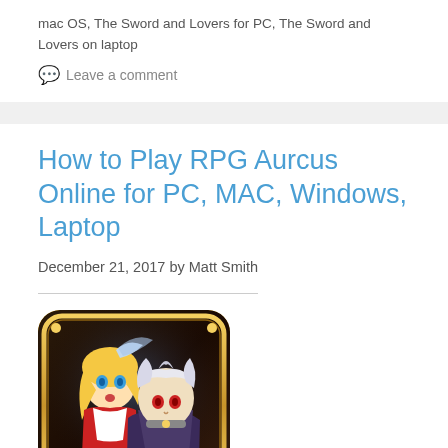mac OS, The Sword and Lovers for PC, The Sword and Lovers on laptop
Leave a comment
How to Play RPG Aurcus Online for PC, MAC, Windows, Laptop
December 21, 2017 by Matt Smith
[Figure (illustration): RPG Aurcus Online game icon showing two anime-style characters — a blonde female and a white-haired male — in fantasy armor costumes, with a golden ornate border frame on a dark background.]